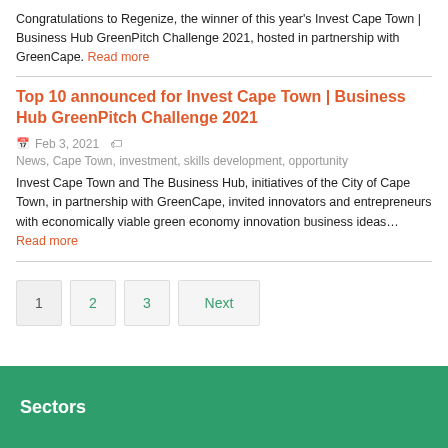Congratulations to Regenize, the winner of this year's Invest Cape Town | Business Hub GreenPitch Challenge 2021, hosted in partnership with GreenCape. Read more
Top 10 announced for Invest Cape Town | Business Hub GreenPitch Challenge 2021
Feb 3, 2021  News, Cape Town, investment, skills development, opportunity
Invest Cape Town and The Business Hub, initiatives of the City of Cape Town, in partnership with GreenCape, invited innovators and entrepreneurs with economically viable green economy innovation business ideas… Read more
1  2  3  Next
Sectors